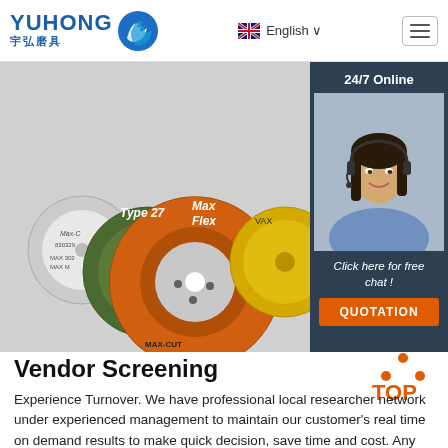[Figure (logo): YUHONG 宇弘磨具 logo with blue wave icon]
English ∨
[Figure (photo): Grinding/cutting discs product photo showing multiple abrasive wheels including orange Type 27 Max Flex disc]
[Figure (photo): 24/7 Online chat widget with woman wearing headset, Click here for free chat!, QUOTATION button]
Vendor Screening
[Figure (illustration): TOP badge with orange dots and text]
Experience Turnover. We have professional local researcher network under experienced management to maintain our customer's real time on demand results to make quick decision, save time and cost. Any questions